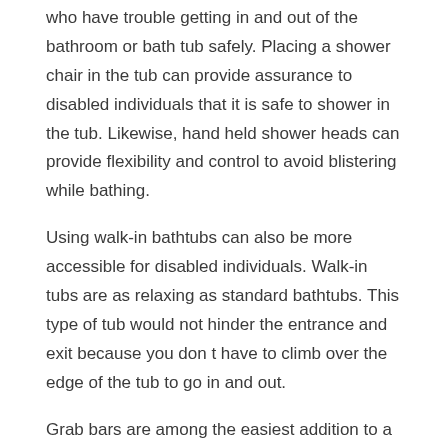who have trouble getting in and out of the bathroom or bath tub safely. Placing a shower chair in the tub can provide assurance to disabled individuals that it is safe to shower in the tub. Likewise, hand held shower heads can provide flexibility and control to avoid blistering while bathing.
Using walk-in bathtubs can also be more accessible for disabled individuals. Walk-in tubs are as relaxing as standard bathtubs. This type of tub would not hinder the entrance and exit because you don t have to climb over the edge of the tub to go in and out.
Grab bars are among the easiest addition to a bathroom. They are built in the walls and sides of walk-in tubs for additional safety in entering, exiting and moving around the tub. The grab bars are often made of chrome plated or heavy duty steel. When adding this safety facility in the bathroom, it is important to consider the user because of the wide grips may be too big for a senior or a woman.